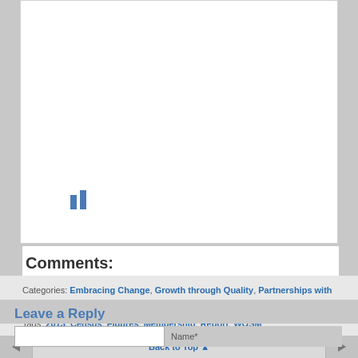[Figure (other): Two small blue vertical bars icon (chart/social share icon)]
Comments:
Categories: Embracing Change, Growth through Quality, Partnerships with other Regions, Volunteering, Youth Empowerment
Tags: 2013, Census, Figures, Membership, Report, WOSM
Share Article
Save to Instapaper
Back to Top ▲
Leave a Reply
Name*